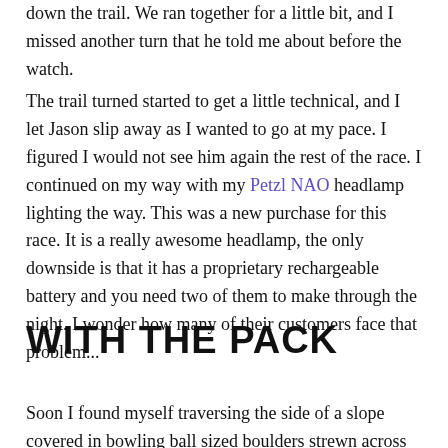down the trail. We ran together for a little bit, and I missed another turn that he told me about before the watch.
The trail turned started to get a little technical, and I let Jason slip away as I wanted to go at my pace. I figured I would not see him again the rest of the race. I continued on my way with my Petzl NAO headlamp lighting the way. This was a new purchase for this race. It is a really awesome headlamp, the only downside is that it has a proprietary rechargeable battery and you need two of them to make through the night. I wonder how many of their customers face that problem...
WITH THE PACK
Soon I found myself traversing the side of a slope covered in bowling ball sized boulders strewn across